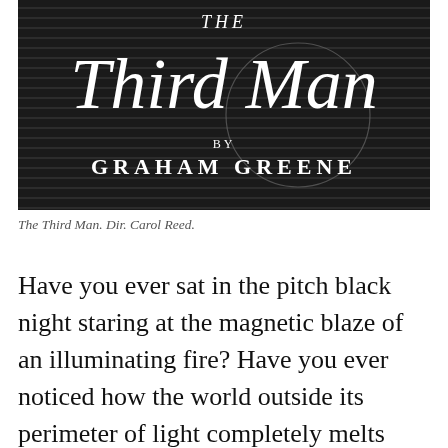[Figure (photo): Black and white film title card image for 'The Third Man' by Graham Greene, showing stylized white serif text on a dark background with horizontal lines]
The Third Man. Dir. Carol Reed.
Have you ever sat in the pitch black night staring at the magnetic blaze of an illuminating fire? Have you ever noticed how the world outside its perimeter of light completely melts away, and your attention is consumed entirely by its captivating dance? What is the theater if